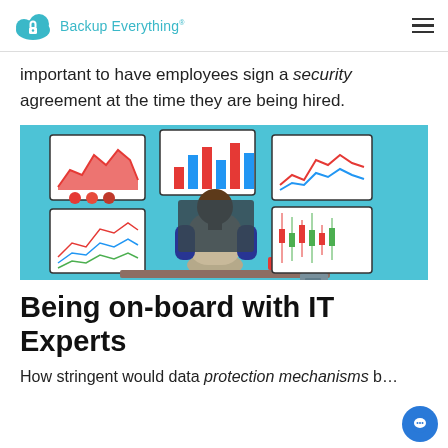Backup Everything
important to have employees sign a security agreement at the time they are being hired.
[Figure (illustration): Illustration of a person sitting at a desk from behind, surrounded by five monitors displaying various data charts and graphs, on a light blue background with a cup on the desk.]
Being on-board with IT Experts
How stringent would data protection mechanisms b…